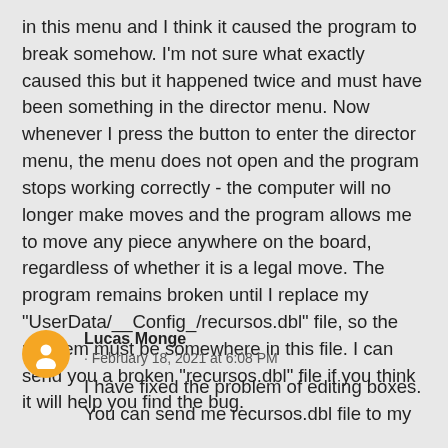in this menu and I think it caused the program to break somehow. I'm not sure what exactly caused this but it happened twice and must have been something in the director menu. Now whenever I press the button to enter the director menu, the menu does not open and the program stops working correctly - the computer will no longer make moves and the program allows me to move any piece anywhere on the board, regardless of whether it is a legal move. The program remains broken until I replace my "UserData/__Config_/recursos.dbl" file, so the problem must be somewhere in this file. I can send you a broken "recursos.dbl" file if you think it will help you find the bug.
Lucas Monge · February 18, 2021 at 6:08 PM I have fixed the problem of editing boxes. You can send me recursos.dbl file to my